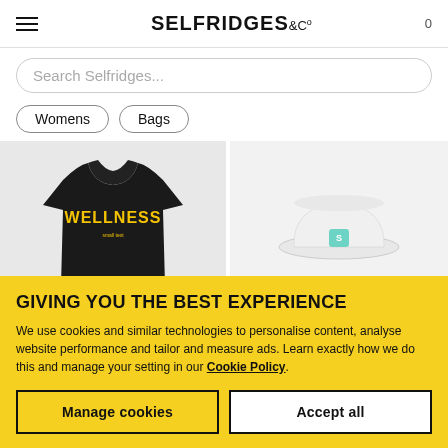SELFRIDGES &CO
Search Selfridges...
Womens
Bags
[Figure (photo): Black WELLNESS graphic t-shirt on left, white bucket hat with teal logo on right]
GIVING YOU THE BEST EXPERIENCE
We use cookies and similar technologies to personalise content, analyse website performance and tailor and measure ads. Learn exactly how we do this and manage your setting in our Cookie Policy.
Manage cookies
Accept all